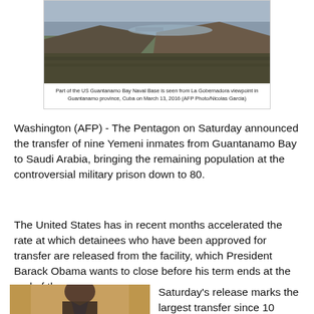[Figure (photo): Aerial landscape view of US Guantanamo Bay Naval Base seen from La Gobernadora viewpoint in Guantanamo province, Cuba]
Part of the US Guantanamo Bay Naval Base is seen from La Gobernadora viewpoint in Guantanamo province, Cuba on March 13, 2016 (AFP Photo/Nicolas Garcia)
Washington (AFP) - The Pentagon on Saturday announced the transfer of nine Yemeni inmates from Guantanamo Bay to Saudi Arabia, bringing the remaining population at the controversial military prison down to 80.
The United States has in recent months accelerated the rate at which detainees who have been approved for transfer are released from the facility, which President Barack Obama wants to close before his term ends at the end of the year.
[Figure (photo): Portrait photo of President Barack Obama]
Saturday's release marks the largest transfer since 10 Yemenis were sent to Oman